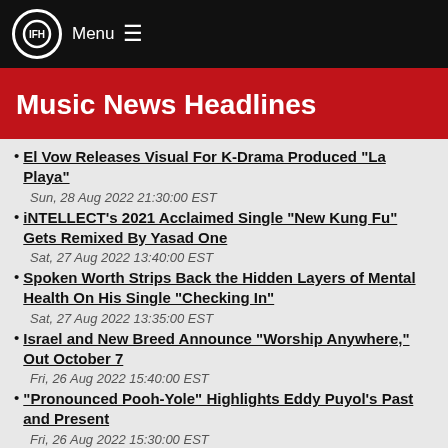IFH Menu
Music News Headlines
El Vow Releases Visual For K-Drama Produced "La Playa"
Sun, 28 Aug 2022 21:30:00 EST
iNTELLECT's 2021 Acclaimed Single "New Kung Fu" Gets Remixed By Yasad One
Sat, 27 Aug 2022 13:40:00 EST
Spoken Worth Strips Back the Hidden Layers of Mental Health On His Single "Checking In"
Sat, 27 Aug 2022 13:35:00 EST
Israel and New Breed Announce "Worship Anywhere," Out October 7
Fri, 26 Aug 2022 15:40:00 EST
"Pronounced Pooh-Yole" Highlights Eddy Puyol's Past and Present
Fri, 26 Aug 2022 15:30:00 EST
Pre-Order For New Album From Steven Curtis Chapman, "Still,"